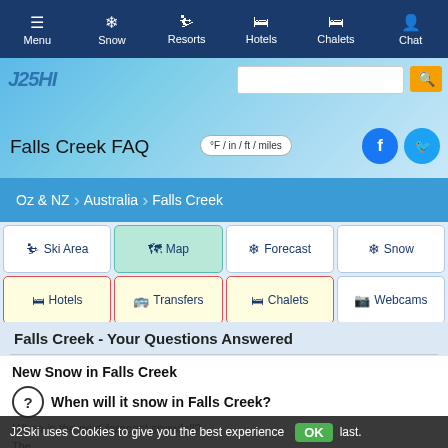Menu | Snow | Resorts | Hotels | Chalets | Chat
Falls Creek FAQ
°F / in / ft / miles
Oz & NZ > Australia > Falls Creek
Ski Area | Map | Forecast | Snow | Hotels | Transfers | Chalets | Webcams
Falls Creek - Your Questions Answered
New Snow in Falls Creek
When will it snow in Falls Creek?
When is the next forecast snowfall?
The J2Ski uses Cookies to give you the best experience OK last.